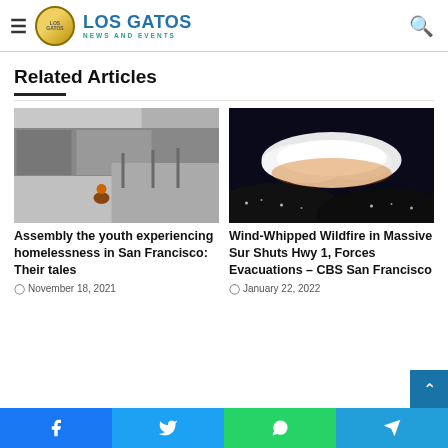Los Gatos News and Events
Related Articles
[Figure (photo): Person sitting on a city sidewalk in front of storefronts, urban street scene, black and white tone]
Assembly the youth experiencing homelessness in San Francisco: Their tales
November 18, 2021
[Figure (photo): Night sky wildfire image showing bright glowing orange fire clouds against dark sky]
Wind-Whipped Wildfire in Massive Sur Shuts Hwy 1, Forces Evacuations – CBS San Francisco
January 22, 2022
Facebook | Twitter | WhatsApp | Telegram